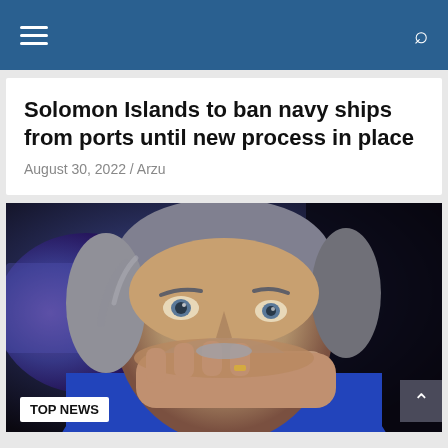Navigation header with hamburger menu and search icon
Solomon Islands to ban navy ships from ports until new process in place
August 30, 2022 / Arzu
[Figure (photo): Close-up photo of a middle-aged man with grey hair and beard, resting his hand on his chin, wearing a blue jacket, with TV screens in the background. Badge reads TOP NEWS.]